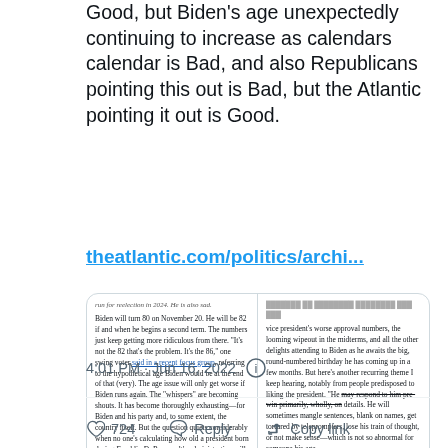Good, but Biden's age unexpectedly continuing to increase as calendars calendar is Bad, and also Republicans pointing this out is Bad, but the Atlantic pointing it out is Good.
theatlantic.com/politics/archi...
[Figure (screenshot): Screenshot of an Atlantic article about Biden's age, showing two columns of article text discussing Biden turning 80, his age issues, and concerns about a second term.]
4:01 PM · Jun 16, 2022
724  Reply  Copy link